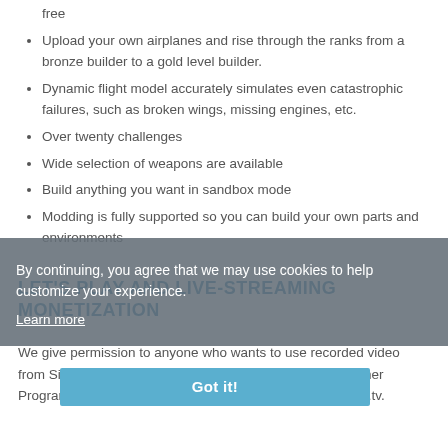free
Upload your own airplanes and rise through the ranks from a bronze builder to a gold level builder.
Dynamic flight model accurately simulates even catastrophic failures, such as broken wings, missing engines, etc.
Over twenty challenges
Wide selection of weapons are available
Build anything you want in sandbox mode
Modding is fully supported so you can build your own parts and environments
LET'S PLAY AND LIVE-STREAMING MONETIZATION
By continuing, you agree that we may use cookies to help customize your experience.
Learn more
Got it!
We give permission to anyone who wants to use recorded video from SimplePlanes for the purpose of monetization in Partner Programs such as YouTube or stream sites such as Twitch.tv.